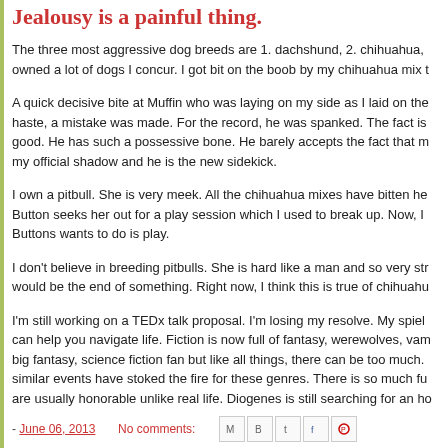Jealousy is a painful thing.
The three most aggressive dog breeds are 1. dachshund, 2. chihuahua, owned a lot of dogs I concur. I got bit on the boob by my chihuahua mix t
A quick decisive bite at Muffin who was laying on my side as I laid on the haste, a mistake was made. For the record, he was spanked. The fact is good. He has such a possessive bone. He barely accepts the fact that m my official shadow and he is the new sidekick.
I own a pitbull. She is very meek. All the chihuahua mixes have bitten he Button seeks her out for a play session which I used to break up. Now, I Buttons wants to do is play.
I don't believe in breeding pitbulls. She is hard like a man and so very str would be the end of something. Right now, I think this is true of chihuahu
I'm still working on a TEDx talk proposal. I'm losing my resolve. My spiel can help you navigate life. Fiction is now full of fantasy, werewolves, vam big fantasy, science fiction fan but like all things, there can be too much. similar events have stoked the fire for these genres. There is so much fu are usually honorable unlike real life. Diogenes is still searching for an ho
- June 06, 2013   No comments:   [share icons]